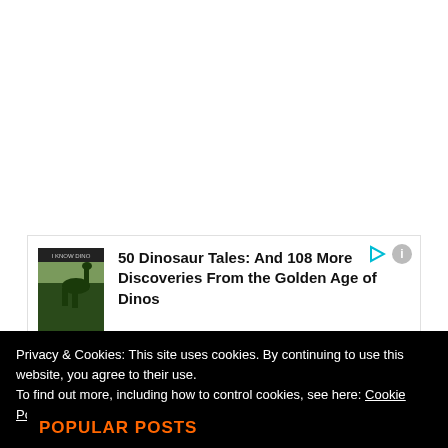[Figure (screenshot): Advertisement box showing book cover for '50 Dinosaur Tales: And 108 More Discoveries From the Golden Age of Dinos' with a dinosaur image on the cover and play/info icons in top right]
Privacy & Cookies: This site uses cookies. By continuing to use this website, you agree to their use.
To find out more, including how to control cookies, see here: Cookie Policy
Close and accept
POPULAR POSTS